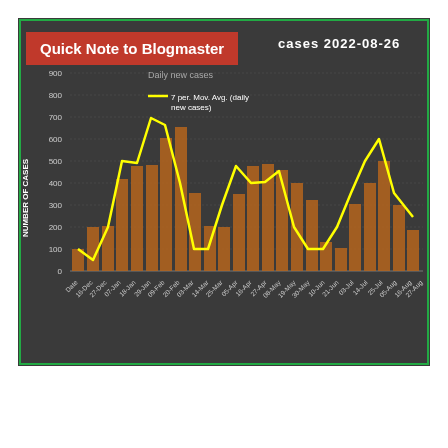[Figure (bar-chart): cases 2022-08-26]
Quick Note to Blogmaster